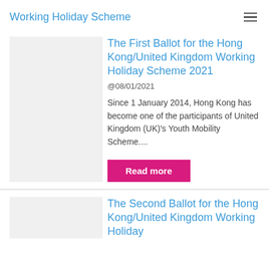Working Holiday Scheme
The First Ballot for the Hong Kong/United Kingdom Working Holiday Scheme 2021
@08/01/2021
Since 1 January 2014, Hong Kong has become one of the participants of United Kingdom (UK)'s Youth Mobility Scheme....
Read more
The Second Ballot for the Hong Kong/United Kingdom Working Holiday Scheme 2020